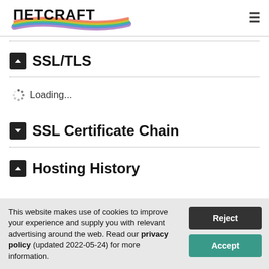Netcraft
SSL/TLS
Loading...
SSL Certificate Chain
Hosting History
This website makes use of cookies to improve your experience and supply you with relevant advertising around the web. Read our privacy policy (updated 2022-05-24) for more information.